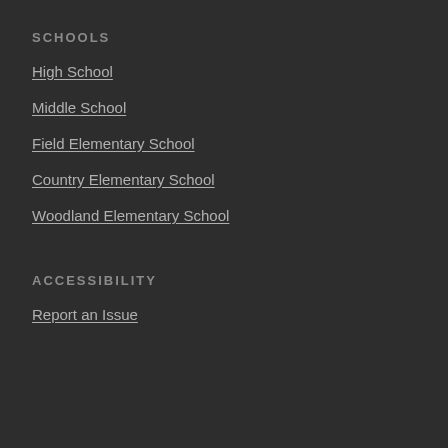SCHOOLS
High School
Middle School
Field Elementary School
Country Elementary School
Woodland Elementary School
ACCESSIBILITY
Report an Issue